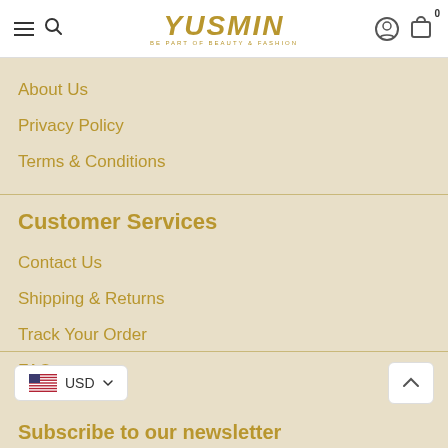YUSMIN — BE PART OF BEAUTY & FASHION
About Us
Privacy Policy
Terms & Conditions
Customer Services
Contact Us
Shipping & Returns
Track Your Order
FAQ
USD
Subscribe to our newsletter